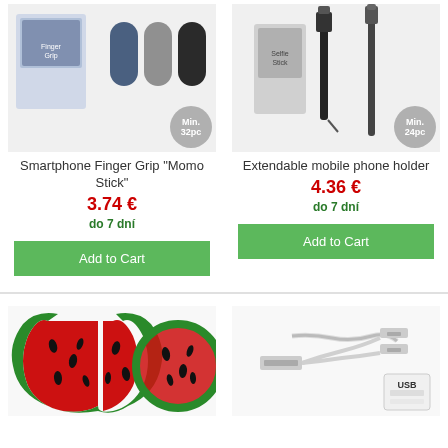[Figure (photo): Smartphone Finger Grip Momo Stick product photo with display box and grip pads in blue, gray, and black. Min. 32pc badge.]
[Figure (photo): Extendable mobile phone holder (selfie stick) product photo with display box. Min. 24pc badge.]
Smartphone Finger Grip "Momo Stick"
3.74 €
do 7 dní
Add to Cart
Extendable mobile phone holder
4.36 €
do 7 dní
Add to Cart
[Figure (photo): Watermelon-themed phone case in red and green.]
[Figure (photo): USB multi-connector cable with lightning and 30-pin connectors, white.]